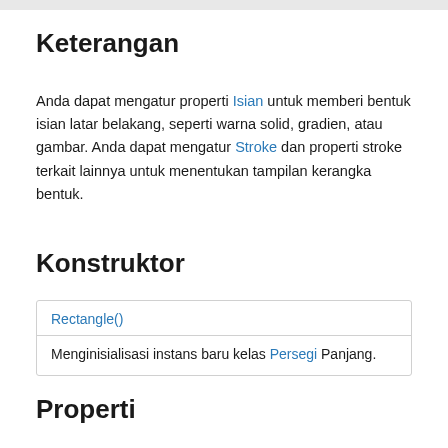Keterangan
Anda dapat mengatur properti Isian untuk memberi bentuk isian latar belakang, seperti warna solid, gradien, atau gambar. Anda dapat mengatur Stroke dan properti stroke terkait lainnya untuk menentukan tampilan kerangka bentuk.
Konstruktor
| Rectangle() | Description |
| --- | --- |
| Rectangle() | Menginisialisasi instans baru kelas Persegi Panjang. |
Properti